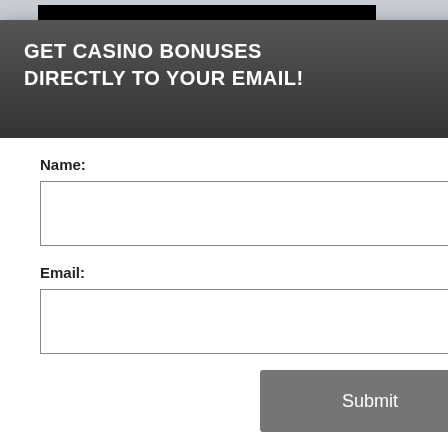[Figure (screenshot): Casino website background with black casino image showing 'ACE CASINO' logo in gold, orange divider line, and black overlay with cookie/privacy policy text and yellow button]
[Figure (screenshot): Modal popup overlay with dark gray header, close button (X in circle), form with Name and Email fields, Submit button, and terms/privacy text]
GET CASINO BONUSES DIRECTLY TO YOUR EMAIL!
Name:
Email:
Submit
By subscribing you are certifying that you have reviewed and accepted our updated Privacy and Cookie policy.